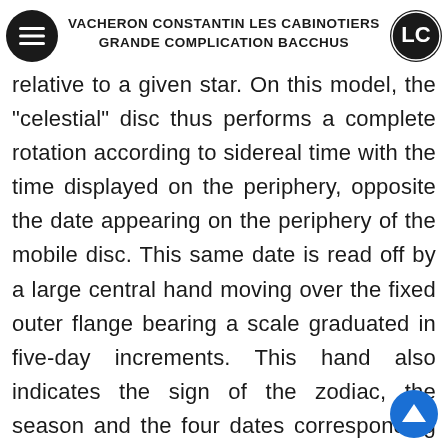VACHERON CONSTANTIN LES CABINOTIERS GRANDE COMPLICATION BACCHUS
relative to a given star. On this model, the "celestial" disc thus performs a complete rotation according to sidereal time with the time displayed on the periphery, opposite the date appearing on the periphery of the mobile disc. This same date is read off by a large central hand moving over the fixed outer flange bearing a scale graduated in five-day increments. This hand also indicates the sign of the zodiac, the season and the four dates corresponding to the solstices and equinoxes. Finally, the small central hand indicates the age of the moon, i.e. the number of days that have elapsed since the last full moon.